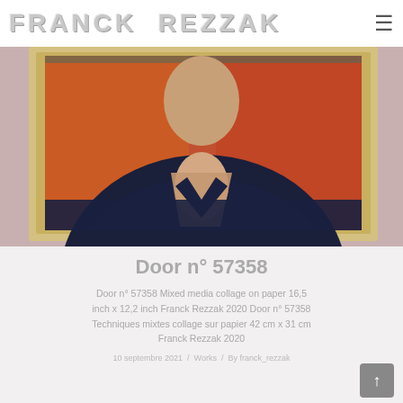FRANCK REZZAK
[Figure (photo): Photograph of a framed mixed media collage artwork showing a figure wearing a dark garment with a light décolletage area, in a wooden frame with orange/warm background. The frame rests against a pinkish-mauve surface.]
Door n° 57358
Door n° 57358 Mixed media collage on paper 16,5 inch x 12,2 inch Franck Rezzak 2020 Door n° 57358 Techniques mixtes collage sur papier 42 cm x 31 cm Franck Rezzak 2020
10 septembre 2021  /  Works  /  By franck_rezzak